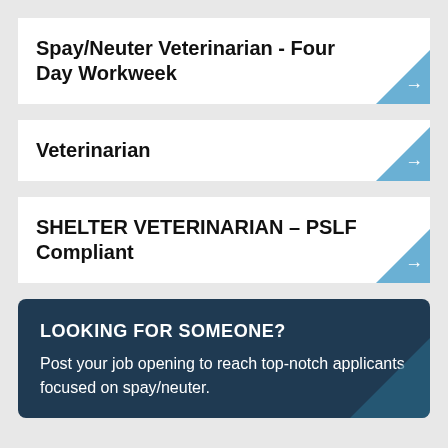Spay/Neuter Veterinarian - Four Day Workweek
Veterinarian
SHELTER VETERINARIAN – PSLF Compliant
LOOKING FOR SOMEONE?
Post your job opening to reach top-notch applicants focused on spay/neuter.